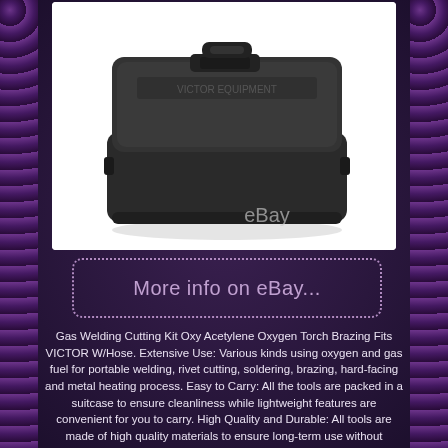[Figure (photo): A dark/black hard plastic carrying case or tool case, viewed from a slight angle, shown on a white background with an eBay watermark]
More info on eBay...
Gas Welding Cutting Kit Oxy Acetylene Oxygen Torch Brazing Fits VICTOR W/Hose. Extensive Use: Various kinds using oxygen and gas fuel for portable welding, rivet cutting, soldering, brazing, hard-facing and metal heating process. Easy to Carry: All the tools are packed in a suitcase to ensure cleanliness while lightweight features are convenient for you to carry. High Quality and Durable: All tools are made of high quality materials to ensure long-term use without damage.